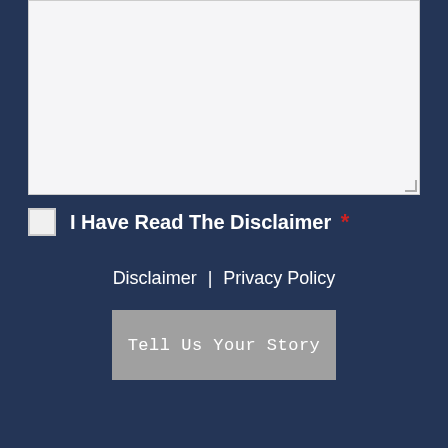[Figure (screenshot): Empty white textarea input field with resize handle at bottom-right corner, on dark blue background]
I Have Read The Disclaimer *
Disclaimer | Privacy Policy
Tell Us Your Story